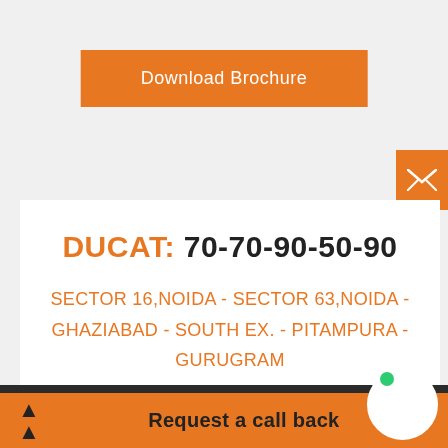Download Brochure
DUCAT: 70-70-90-50-90
SECTOR 16,NOIDA - SECTOR 63,NOIDA - GHAZIABAD - SOUTH EX. - PITAMPURA - GURUGRAM
Request a call back